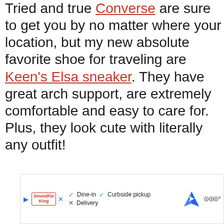Tried and true Converse are sure to get you by no matter where your location, but my new absolute favorite shoe for traveling are Keen's Elsa sneaker. They have great arch support, are extremely comfortable and easy to care for. Plus, they look cute with literally any outfit!
[Figure (screenshot): Advertisement bar showing Smoothie King with Dine-in, Curbside pickup options, Delivery crossed out, a Google Maps direction icon and Waze icon]